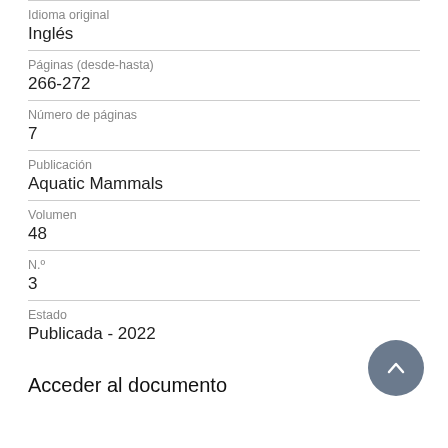Idioma original
Inglés
Páginas (desde-hasta)
266-272
Número de páginas
7
Publicación
Aquatic Mammals
Volumen
48
N.º
3
Estado
Publicada - 2022
Acceder al documento